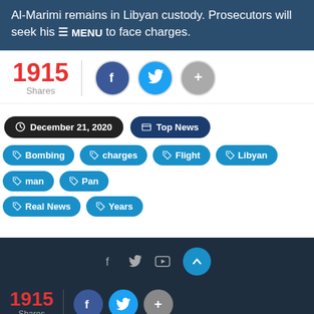Al-Marimi remains in Libyan custody. Prosecutors will seek his ≡ MENU to face charges.
1915 Shares
December 21, 2020  Top News
Bombing
charges
Flight
Libyan
man
Pan
Real News
Years
1915 Shares